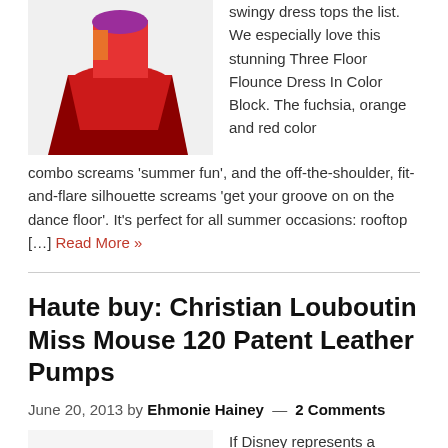[Figure (photo): Woman wearing a red flounce dress in color block with fuchsia, orange and red colors — only lower half visible]
swingy dress tops the list. We especially love this stunning Three Floor Flounce Dress In Color Block. The fuchsia, orange and red color combo screams 'summer fun', and the off-the-shoulder, fit-and-flare silhouette screams 'get your groove on on the dance floor'. It's perfect for all summer occasions: rooftop […] Read More »
Haute buy: Christian Louboutin Miss Mouse 120 Patent Leather Pumps
June 20, 2013 by Ehmonie Hainey — 2 Comments
[Figure (photo): Christian Louboutin Miss Mouse 120 Patent Leather Pumps — back view of black heels with red soles]
If Disney represents a magical world, then Disney-inspired shoes must be magical too, right? Christian